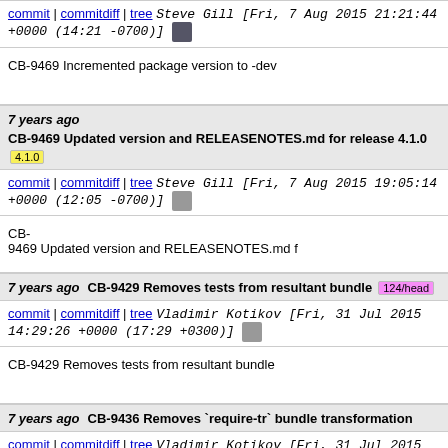commit | commitdiff | tree  Steve Gill [Fri, 7 Aug 2015 21:21:44 +0000 (14:21 -0700)]
CB-9469 Incremented package version to -dev
7 years ago  CB-9469 Updated version and RELEASENOTES.md for release 4.1.0  [4.1.0]
commit | commitdiff | tree  Steve Gill [Fri, 7 Aug 2015 19:05:14 +0000 (12:05 -0700)]
CB-9469 Updated version and RELEASENOTES.md f
7 years ago  CB-9429 Removes tests from resultant bundle  [124/head]
commit | commitdiff | tree  Vladimir Kotikov [Fri, 31 Jul 2015 14:29:26 +0000 (17:29 +0300)]
CB-9429 Removes tests from resultant bundle
7 years ago  CB-9436 Removes `require-tr` bundle transformation
commit | commitdiff | tree  Vladimir Kotikov [Fri, 31 Jul 2015